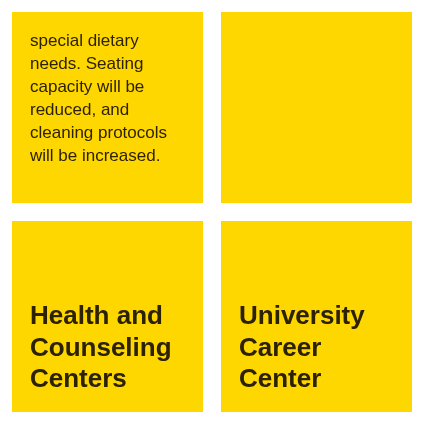special dietary needs. Seating capacity will be reduced, and cleaning protocols will be increased.
[Figure (other): Yellow card with no text content]
Health and Counseling Centers
University Career Center